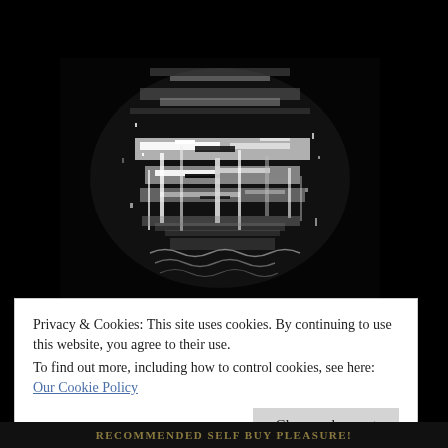LONDON PLANE
[Figure (photo): Glitched/distorted black and white portrait image with heavy digital distortion artifacts, showing a face with extreme pixel corruption and noise patterns against a dark background.]
Privacy & Cookies: This site uses cookies. By continuing to use this website, you agree to their use.
To find out more, including how to control cookies, see here: Our Cookie Policy
Close and accept
RECOMMENDED SELF BUY PLEASURE!